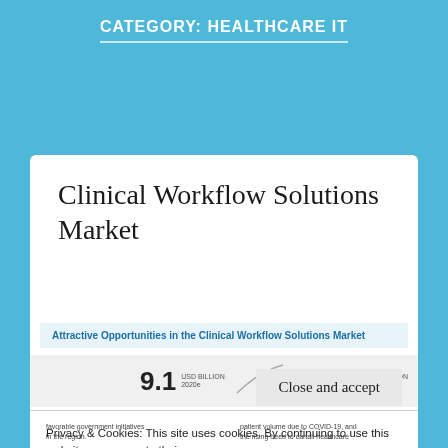CATEGORY: HEALTHCARE IT
Clinical Workflow Solutions Market
Attractive Opportunities in the Clinical Workflow Solutions Market
[Figure (infographic): Stats bar showing 9.1 USD BILLION (2020e) and 18.1 USD BILLION (2025e) with growth curve between them]
Privacy & Cookies: This site uses cookies. By continuing to use this website, you agree to their use.
To find out more, including how to control cookies, see here: Cookie Policy
Close and accept
favorable government initiatives in the region.
patient volume due to COVID-19, and the rising need to curtail healthcare